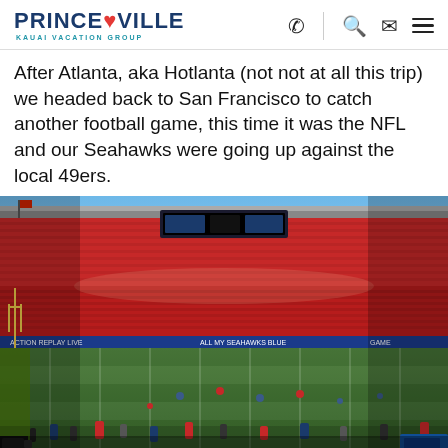PRINCEVILLE KAUAI VACATION GROUP
After Atlanta, aka Hotlanta (not not at all this trip) we headed back to San Francisco to catch another football game, this time it was the NFL and our Seahawks were going up against the local 49ers.
[Figure (photo): Wide-angle panoramic view of a packed NFL stadium (Levi's Stadium) from field level, showing red-seated stands filled with fans, the football field with players warming up, goal posts visible on the left, and a blue sky above.]